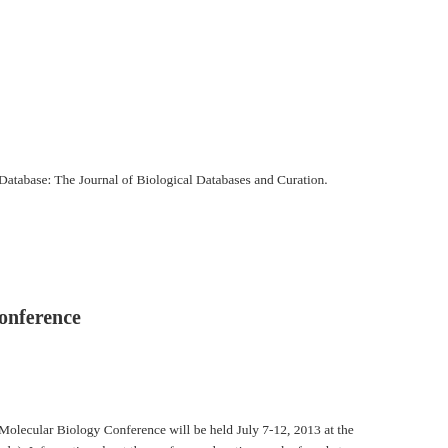Database: The Journal of Biological Databases and Curation.
onference
Molecular Biology Conference will be held July 7-12, 2013 at the ado). Information about the conference location can be found at
ows the latest three gene pages edited by members of the nnotations, and the list of related papers. Recent Papers shows ena papers (downloaded regularly from Pubmed). Authors, s they describe.